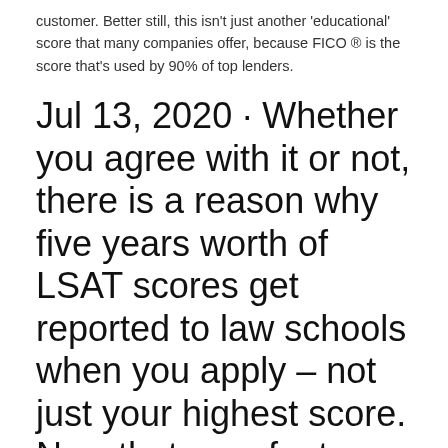customer. Better still, this isn't just another 'educational' score that many companies offer, because FICO ® is the score that's used by 90% of top lenders.
Jul 13, 2020 · Whether you agree with it or not, there is a reason why five years worth of LSAT scores get reported to law schools when you apply – not just your highest score. Now that core feature can be
You're not alone. SCORE is here to help. SCORE mentors provide free business advice across every business topic and industry. There are several ways to get started. Learn more about how we can help you reach your goals. Feb 13, 2009 · So even though it's Friday, and you'd like to relax, I suggest